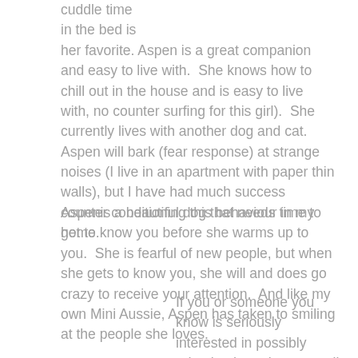cuddle time
in the bed is
her favorite. Aspen is a great companion and easy to live with.  She knows how to chill out in the house and is easy to live with, no counter surfing for this girl).  She currently lives with another dog and cat. Aspen will bark (fear response) at strange noises (I live in an apartment with paper thin walls), but I have had much success counter conditioning this behaviour in my home.
Aspenis a beautiful dog that needs time to get to know you before she warms up to you.  She is fearful of new people, but when she gets to know you, she will and does go crazy to receive your attention.  And like my own Mini Aussie, Aspen has taken to smiling at the people she loves.
If you or someone you know is seriously interested in possibly adopting her, please email Cheryl at